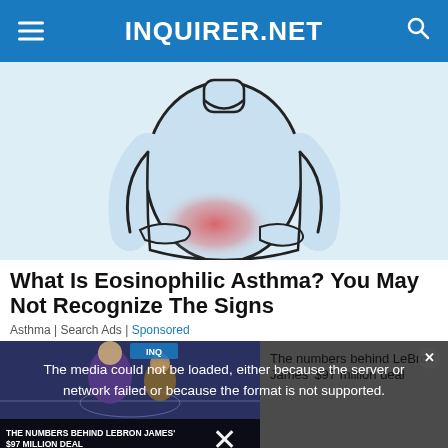INQUIRER.NET
[Figure (illustration): Cartoon illustration of a person in a light blue long-sleeve top holding their abdomen/stomach area, which is highlighted in red/pink to indicate pain. The person is shown from the shoulders down.]
What Is Eosinophilic Asthma? You May Not Recognize The Signs
Asthma | Search Ads | Sponsored
[Figure (screenshot): Video overlay showing a basketball player (LeBron James) with error message: 'The media could not be loaded, either because the server or network failed or because the format is not supported.' Right panel shows text 'The numbers behind LeBron James' $97 million deal'. Bottom bar shows 'THE NUMBERS BEHIND LEBRON JAMES' $97 MILLION DEAL'. A close X button is shown at the bottom.]